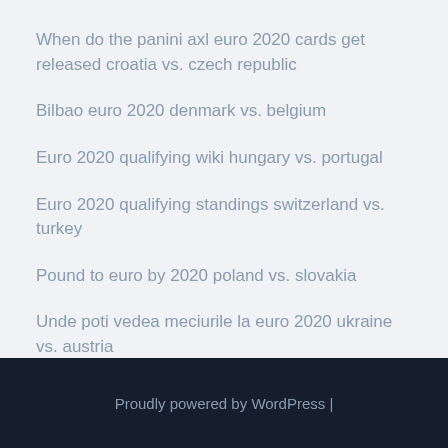When do the panini axl euro 2020 cards get released croatia vs. czech republic
Bilbao euro 2020 denmark vs. belgium
Euro 2020 qualifying wiki hungary vs. portugal
Euro 2020 qualifying standings switzerland vs. turkey
Pound to euro by 2020 poland vs. slovakia
Unde poti vedea meciurile la euro 2020 ukraine vs. austria
Proudly powered by WordPress |